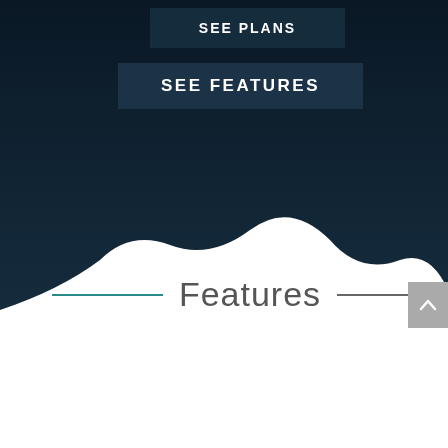[Figure (screenshot): Dark navy wavy background occupying the top portion of the page, with two call-to-action buttons: 'SEE PLANS' and 'SEE FEATURES', on a white background below with a wavy transition.]
SEE PLANS
SEE FEATURES
Features
[Figure (other): Gray scroll-to-top button with an upward arrow chevron, positioned at the bottom right.]